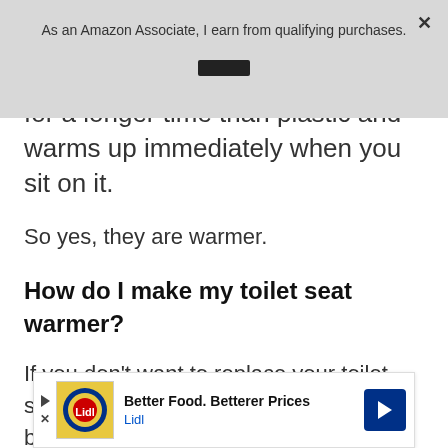As an Amazon Associate, I earn from qualifying purchases.
for a longer time than plastic and warms up immediately when you sit on it.
So yes, they are warmer.
How do I make my toilet seat warmer?
If you don't want to replace your toilet seat to get a heated seat, you could just buy a seat warmer that can be placed under the seat
[Figure (other): Lidl advertisement banner: Better Food. Betterer Prices - Lidl]